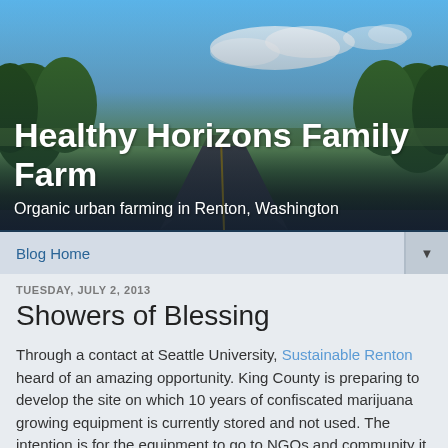[Figure (photo): Header banner photo of a straight road stretching to the horizon with green trees on both sides and a blue sky with white clouds above.]
Healthy Horizons Family Farm
Organic urban farming in Renton, Washington
Blog Home
TUESDAY, JULY 2, 2013
Showers of Blessing
Through a contact at Seattle University, Sustainable Renton heard of an amazing opportunity. King County is preparing to develop the site on which 10 years of confiscated marijuana growing equipment is currently stored and not used. The intention is for the equipment to go to NGOs and community it